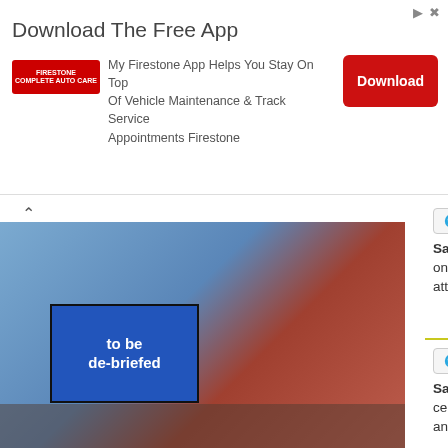[Figure (infographic): Firestone app advertisement banner with logo, text, and red Download button]
[Figure (photo): Person holding a blue sign reading 'to be de-briefed' in front of an American flag]
This weeks funny trending signs on the big old web
[Figure (photo): The Bogdanov brothers - group photo labeled 'The Bogdanov brothers']
Plastic Surgery can really be a bad idea
Saint Louis, 2022 Evens Society Al... on behalf of the Edward Mallinckrodt... attend the 2022 Evens Society Alum...
Saint Louis, 2022 MOmentum Annu... celebrating the humanities in Missouri... and engaged society — will highlight...
Saint Louis, 4th... in on August 27th... automotive mus...